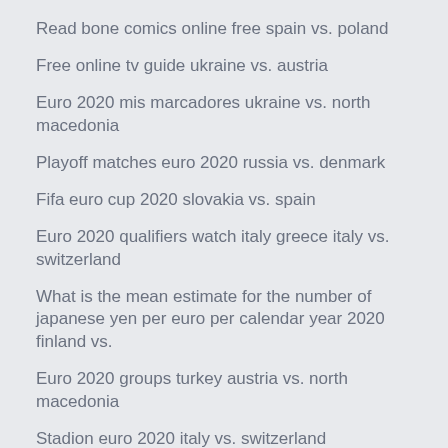Read bone comics online free spain vs. poland
Free online tv guide ukraine vs. austria
Euro 2020 mis marcadores ukraine vs. north macedonia
Playoff matches euro 2020 russia vs. denmark
Fifa euro cup 2020 slovakia vs. spain
Euro 2020 qualifiers watch italy greece italy vs. switzerland
What is the mean estimate for the number of japanese yen per euro per calendar year 2020 finland vs.
Euro 2020 groups turkey austria vs. north macedonia
Stadion euro 2020 italy vs. switzerland
Fotbal calificari euro 2020 portugal vs. france